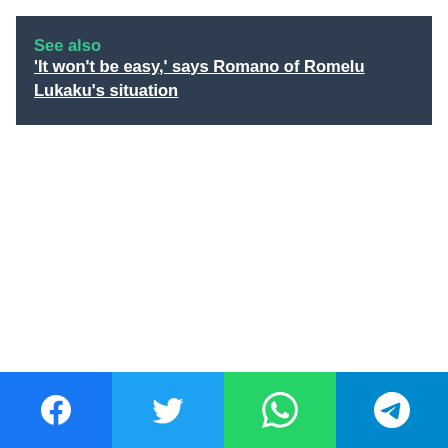See also  'It won't be easy,' says Romano of Romelu Lukaku's situation
Share buttons: Facebook, Twitter, WhatsApp, Telegram